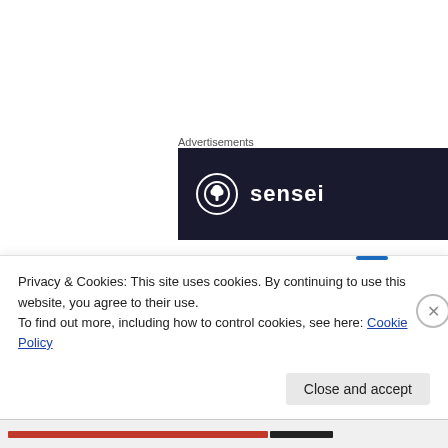Advertisements
[Figure (logo): Dark navy banner advertisement with a circular logo icon and the text 'sensei' in white bold letters]
When I see results, it makes me want more. I hope you will, too. Remember, just move your foot.
Let me know how it works for you!
Privacy & Cookies: This site uses cookies. By continuing to use this website, you agree to their use. To find out more, including how to control cookies, see here: Cookie Policy